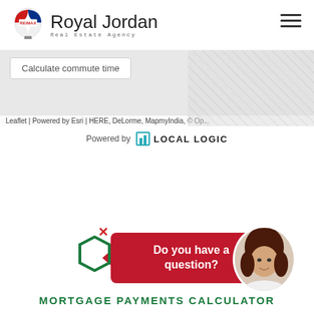Royal Jordan Real Estate Agency
[Figure (screenshot): Map area with diagonal hatch pattern and 'Calculate commute time' button, followed by Leaflet/Esri/HERE attribution bar and Powered by LOCAL LOGIC bar]
[Figure (infographic): Chat popup with X close button, green hexagon icon, red speech bubble saying 'Do you have a question?' and agent profile photo]
MORTGAGE PAYMENTS CALCULATOR